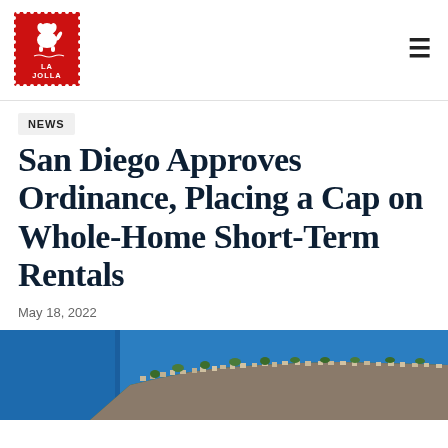[Figure (logo): La Jolla Light newspaper logo: red postage stamp with white dog silhouette and text LA JOLLA]
NEWS
San Diego Approves Ordinance, Placing a Cap on Whole-Home Short-Term Rentals
May 18, 2022
[Figure (photo): Aerial photograph of La Jolla coastline showing densely packed residential neighborhood with ocean on the left side]